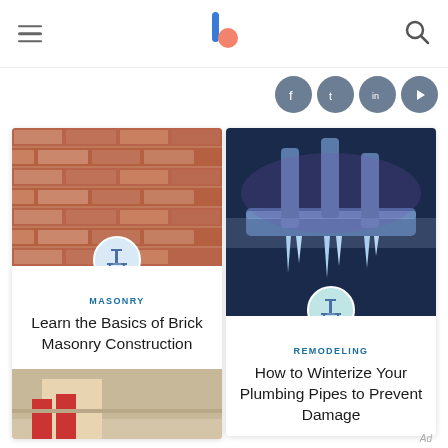Navigation header with hamburger menu, logo, and search icon
[Figure (screenshot): Social media icons row: Facebook, Twitter, LinkedIn, YouTube - dark blue circles]
[Figure (photo): Brick masonry wall texture - reddish-brown bricks]
MASONRY
Learn the Basics of Brick Masonry Construction
[Figure (photo): Construction/flooring work with worker legs visible]
[Figure (photo): Frozen pipes with icicles against dark blue background]
REMODELING
How to Winterize Your Plumbing Pipes to Prevent Damage
Ad